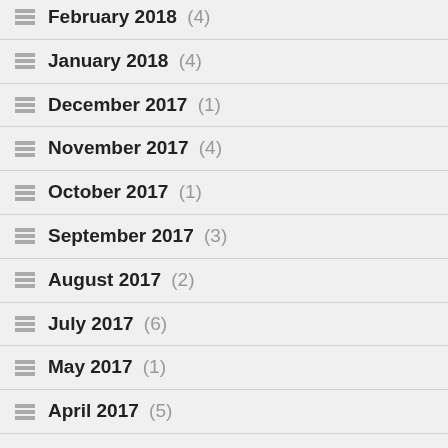February 2018 (4)
January 2018 (4)
December 2017 (1)
November 2017 (4)
October 2017 (1)
September 2017 (3)
August 2017 (2)
July 2017 (6)
May 2017 (1)
April 2017 (5)